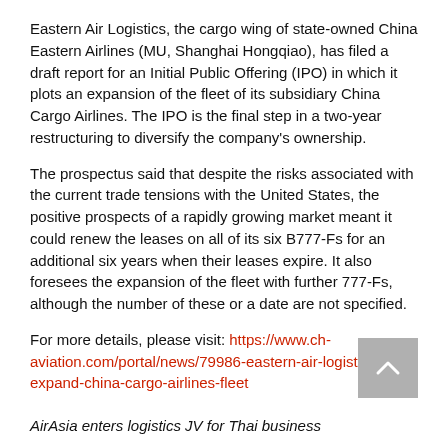Eastern Air Logistics, the cargo wing of state-owned China Eastern Airlines (MU, Shanghai Hongqiao), has filed a draft report for an Initial Public Offering (IPO) in which it plots an expansion of the fleet of its subsidiary China Cargo Airlines. The IPO is the final step in a two-year restructuring to diversify the company's ownership.
The prospectus said that despite the risks associated with the current trade tensions with the United States, the positive prospects of a rapidly growing market meant it could renew the leases on all of its six B777-Fs for an additional six years when their leases expire. It also foresees the expansion of the fleet with further 777-Fs, although the number of these or a date are not specified.
For more details, please visit: https://www.ch-aviation.com/portal/news/79986-eastern-air-logistics-to-expand-china-cargo-airlines-fleet
AirAsia enters logistics JV for Thai business